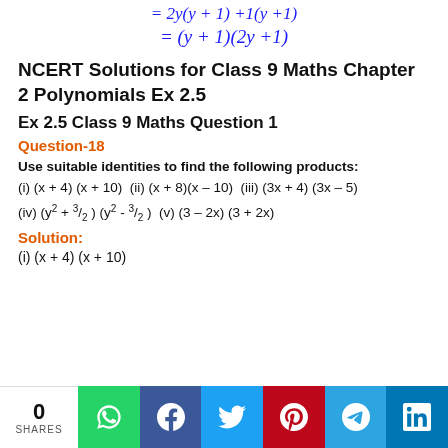NCERT Solutions for Class 9 Maths Chapter 2 Polynomials Ex 2.5
Ex 2.5 Class 9 Maths Question 1
Question-18
Use suitable identities to find the following products:
(i) (x + 4) (x + 10) (ii) (x + 8)(x – 10) (iii) (3x + 4) (3x – 5)
(iv) (y² + 3/2) (y² - 3/2) (v) (3 – 2x) (3 + 2x)
Solution:
(i) (x + 4) (x + 10)